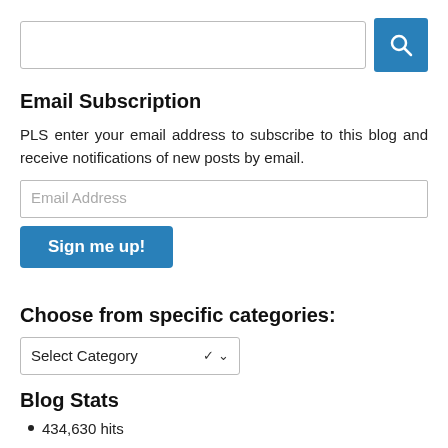[Figure (screenshot): Search input box and blue search button with magnifying glass icon]
Email Subscription
PLS enter your email address to subscribe to this blog and receive notifications of new posts by email.
[Figure (screenshot): Email Address input field placeholder text]
[Figure (screenshot): Sign me up! blue button]
Choose from specific categories:
[Figure (screenshot): Select Category dropdown box]
Blog Stats
434,630 hits